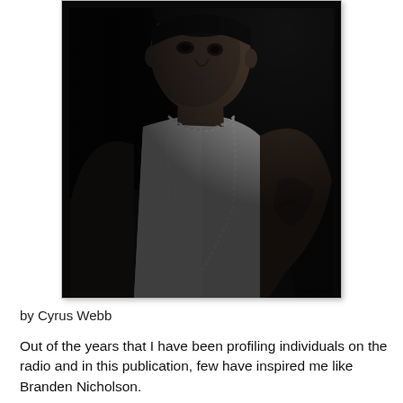[Figure (photo): Black and white portrait photo of Branden Nicholson, a muscular young Black man wearing a white tank top and a beaded/chain necklace, with tattoos on his right arm, looking toward the camera against a dark background.]
by Cyrus Webb
Out of the years that I have been profiling individuals on the radio and in this publication, few have inspired me like Branden Nicholson.